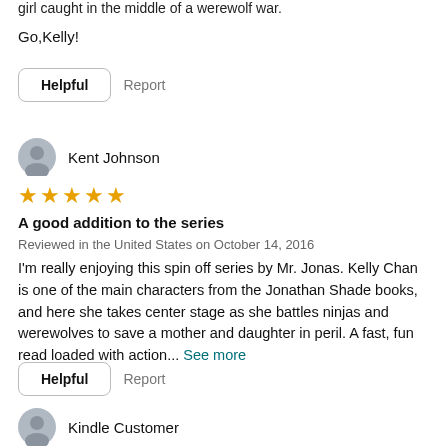girl caught in the middle of a werewolf war.
Go,Kelly!
[Figure (other): Helpful button and Report link]
[Figure (other): User avatar icon for Kent Johnson]
Kent Johnson
[Figure (other): 5 orange star rating]
A good addition to the series
Reviewed in the United States on October 14, 2016
I'm really enjoying this spin off series by Mr. Jonas. Kelly Chan is one of the main characters from the Jonathan Shade books, and here she takes center stage as she battles ninjas and werewolves to save a mother and daughter in peril. A fast, fun read loaded with action... See more
[Figure (other): Helpful button and Report link]
[Figure (other): User avatar icon for Kindle Customer]
Kindle Customer